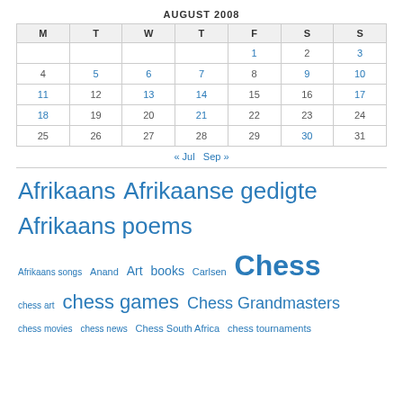AUGUST 2008
| M | T | W | T | F | S | S |
| --- | --- | --- | --- | --- | --- | --- |
|  |  |  |  | 1 | 2 | 3 |
| 4 | 5 | 6 | 7 | 8 | 9 | 10 |
| 11 | 12 | 13 | 14 | 15 | 16 | 17 |
| 18 | 19 | 20 | 21 | 22 | 23 | 24 |
| 25 | 26 | 27 | 28 | 29 | 30 | 31 |
« Jul   Sep »
Afrikaans  Afrikaanse gedigte  Afrikaans poems  Afrikaans songs  Anand  Art  books  Carlsen  Chess  chess art  chess games  Chess Grandmasters  chess movies  chess news  Chess South Africa  chess tournaments